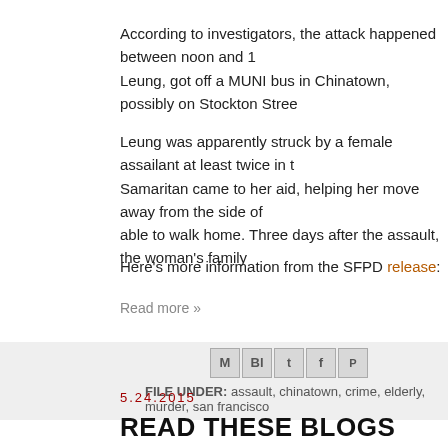According to investigators, the attack happened between noon and 1 Leung, got off a MUNI bus in Chinatown, possibly on Stockton Stree
Leung was apparently struck by a female assailant at least twice in t Samaritan came to her aid, helping her move away from the side of able to walk home. Three days after the assault, the woman's family
Here's more information from the SFPD release:
Read more »
[Figure (infographic): Social share icons: Gmail, Blogger, Twitter, Facebook, Pinterest]
FILE UNDER: assault, chinatown, crime, elderly, murder, san francisco
5.24.2015
READ THESE BLOGS
[Figure (photo): Pink background image with text 'CHIEF JUSTICE' in white italic letters]